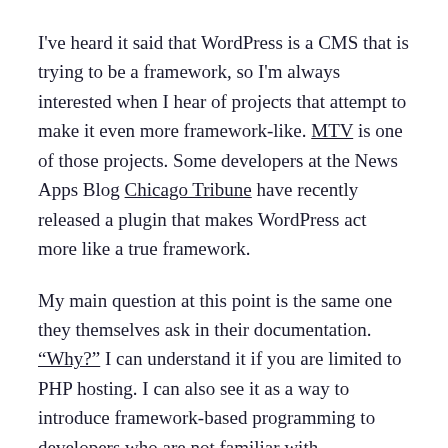I've heard it said that WordPress is a CMS that is trying to be a framework, so I'm always interested when I hear of projects that attempt to make it even more framework-like. MTV is one of those projects. Some developers at the News Apps Blog Chicago Tribune have recently released a plugin that makes WordPress act more like a true framework.
My main question at this point is the same one they themselves ask in their documentation. "Why?" I can understand it if you are limited to PHP hosting. I can also see it as a way to introduce framework-based programming to developers who are not familiar with frameworks like Ruby on Rails and Django. MVC frameworks can be intimidating, and this could be a way to introduce those concepts in a more familiar environment.